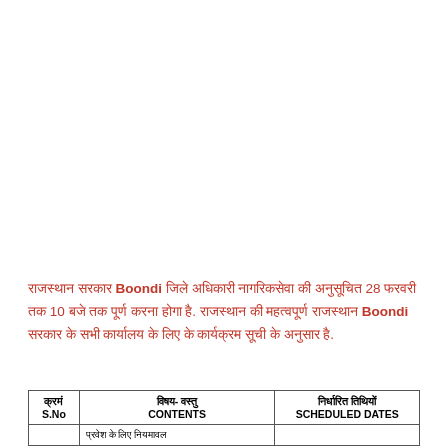राजस्थान सरकार Boondi जिले अधिकारी नागरिकसेवा की अनुसूचित 28 फरवरी तक 10 बजे तक पूर्ण करना होगा है. राजस्थान की महत्वपूर्ण राजस्थान Boondi सरकार के सभी कार्यालय के लिए के कार्यक्रम सूची के अनुसार है.
| क्रमं S.No | विषय-वस्तु CONTENTS | निर्धारित तिथियों SCHEDULED DATES |
| --- | --- | --- |
|  | प्रवेश के लिए नियमावल |  |